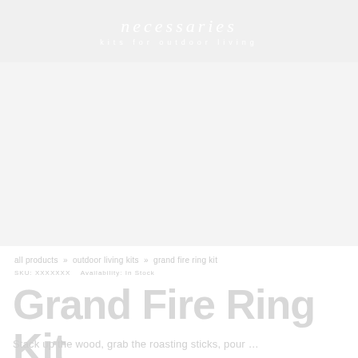necessaries kits for outdoor living
[Figure (photo): Large product or lifestyle image area, white/light gray, content not visible]
all products » outdoor living kits » grand fire ring kit
SKU: XXXXXXX    Availability: In Stock
Grand Fire Ring Kit
Stack up the wood, grab the roasting sticks, pour...